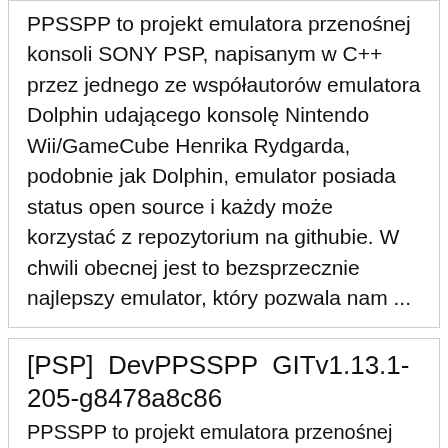PPSSPP to projekt emulatora przenośnej konsoli SONY PSP, napisanym w C++ przez jednego ze współautorów emulatora Dolphin udającego konsolę Nintendo Wii/GameCube Henrika Rydgarda, podobnie jak Dolphin, emulator posiada status open source i każdy może korzystać z repozytorium na githubie. W chwili obecnej jest to bezsprzecznie najlepszy emulator, który pozwala nam ...
[PSP] DevPPSSPP GITv1.13.1-205-g8478a8c86
PPSSPP to projekt emulatora przenośnej konsoli SONY PSP, napisanym w C++ przez jednego ze współautorów emulatora Dolphin udającego